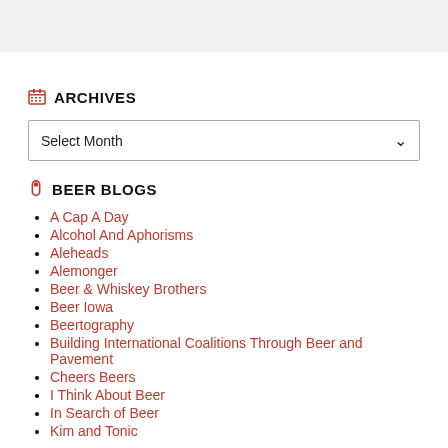ARCHIVES
Select Month
BEER BLOGS
A Cap A Day
Alcohol And Aphorisms
Aleheads
Alemonger
Beer & Whiskey Brothers
Beer Iowa
Beertography
Building International Coalitions Through Beer and Pavement
Cheers Beers
I Think About Beer
In Search of Beer
Kim and Tonic